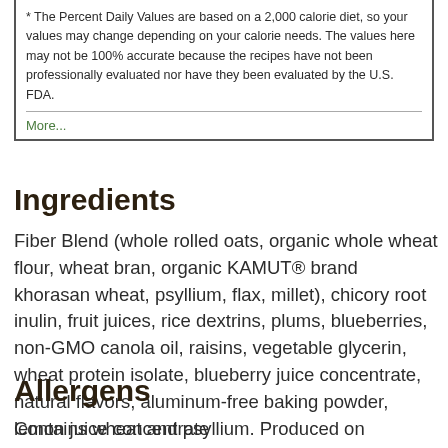* The Percent Daily Values are based on a 2,000 calorie diet, so your values may change depending on your calorie needs. The values here may not be 100% accurate because the recipes have not been professionally evaluated nor have they been evaluated by the U.S. FDA.
More...
Ingredients
Fiber Blend (whole rolled oats, organic whole wheat flour, wheat bran, organic KAMUT® brand khorasan wheat, psyllium, flax, millet), chicory root inulin, fruit juices, rice dextrins, plums, blueberries, non-GMO canola oil, raisins, vegetable glycerin, wheat protein isolate, blueberry juice concentrate, natural flavors, aluminum-free baking powder, lemon juice concentrate
Allergens
Contains wheat and psyllium. Produced on